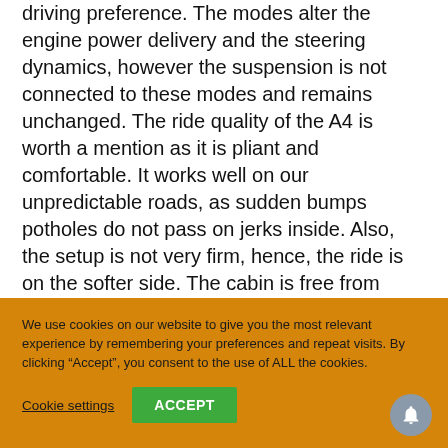driving preference. The modes alter the engine power delivery and the steering dynamics, however the suspension is not connected to these modes and remains unchanged. The ride quality of the A4 is worth a mention as it is pliant and comfortable. It works well on our unpredictable roads, as sudden bumps potholes do not pass on jerks inside. Also, the setup is not very firm, hence, the ride is on the softer side. The cabin is free from unwanted noise and makes you feel comfortable.
We use cookies on our website to give you the most relevant experience by remembering your preferences and repeat visits. By clicking “Accept”, you consent to the use of ALL the cookies.
Cookie settings
ACCEPT